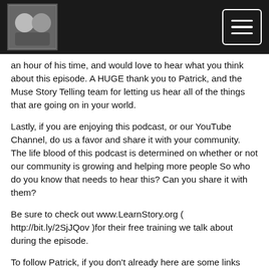[Podcast logo image and hamburger menu button]
an hour of his time, and would love to hear what you think about this episode. A HUGE thank you to Patrick, and the Muse Story Telling team for letting us hear all of the things that are going on in your world.
Lastly, if you are enjoying this podcast, or our YouTube Channel, do us a favor and share it with your community. The life blood of this podcast is determined on whether or not our community is growing and helping more people So who do you know that needs to hear this? Can you share it with them?
Be sure to check out www.LearnStory.org ( http://bit.ly/2SjJQov )for their free training we talk about during the episode.
To follow Patrick, if you don't already here are some links below:
Muse Storytelling's Website: http://bit.ly/2TsLvFp
Follow Muse Storytelling on YouTube: http://bit.ly/2BgBa8H
Follow Muse Storytelling on Instagram: http://bit.ly/2SnowhO
Link to our podcast on iTunes, Google Play, Spotify, Stitcher click here: http://bit.ly/2ORoc...